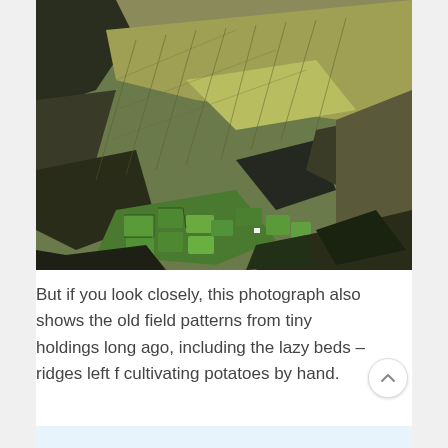[Figure (photo): Aerial photograph of a hillside landscape in Ireland or similar Celtic region, showing green fields in a valley with rocky outcrops, and old field patterns including lazy beds (ridges from hand cultivation of potatoes) visible on the hillside slopes. The terrain shows a mix of yellow-green grassland on upper slopes and darker green enclosed fields below.]
But if you look closely, this photograph also shows the old field patterns from tiny holdings long ago, including the lazy beds – ridges left f cultivating potatoes by hand.